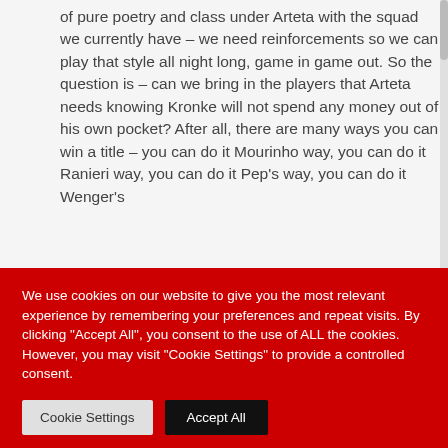of pure poetry and class under Arteta with the squad we currently have – we need reinforcements so we can play that style all night long, game in game out. So the question is – can we bring in the players that Arteta needs knowing Kronke will not spend any money out of his own pocket? After all, there are many ways you can win a title – you can do it Mourinho way, you can do it Ranieri way, you can do it Pep's way, you can do it Wenger's
We use cookies on our website to give you the most relevant experience by remembering your preferences and repeat visits. By clicking "Accept All", you consent to the use of ALL the cookies. However, you may visit "Cookie Settings" to provide a controlled consent.
Cookie Settings
Accept All